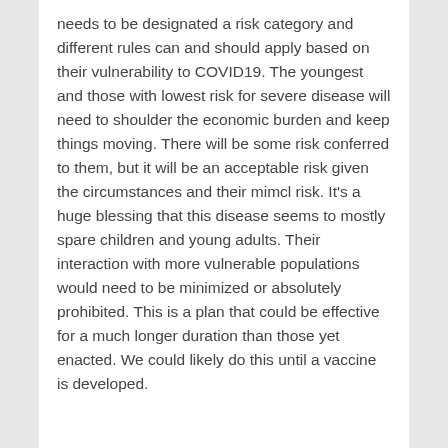needs to be designated a risk category and different rules can and should apply based on their vulnerability to COVID19. The youngest and those with lowest risk for severe disease will need to shoulder the economic burden and keep things moving. There will be some risk conferred to them, but it will be an acceptable risk given the circumstances and their mimcl risk. It's a huge blessing that this disease seems to mostly spare children and young adults. Their interaction with more vulnerable populations would need to be minimized or absolutely prohibited. This is a plan that could be effective for a much longer duration than those yet enacted. We could likely do this until a vaccine is developed.